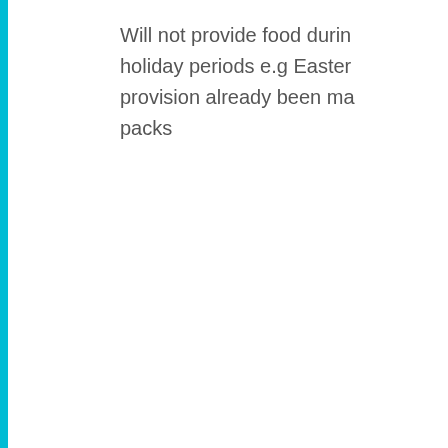Will not provide food during holiday periods e.g Easter provision already been made packs
Penicuik – Area:
We use cookies to find out more about how people use our site - you cannot be identified from the data we collect. Continuing beyond this page implies acceptance of these cookies.